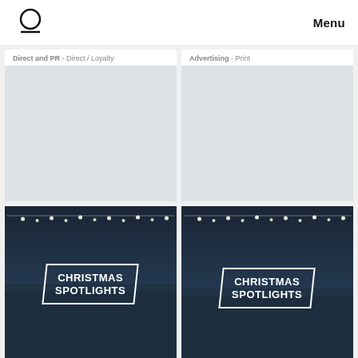Menu
Direct and PR - Direct / Loyalty
Advertising - Print
[Figure (photo): Christmas Spotlights promotional image with illuminated sign against dark building background]
2017
Christmas Spotlights
Digital - Digital / Technology Driven Promo & Activation
[Figure (photo): Christmas Spotlights promotional image with illuminated sign against dark building background]
2017
Christmas Spotlights
Digital - Digital Products